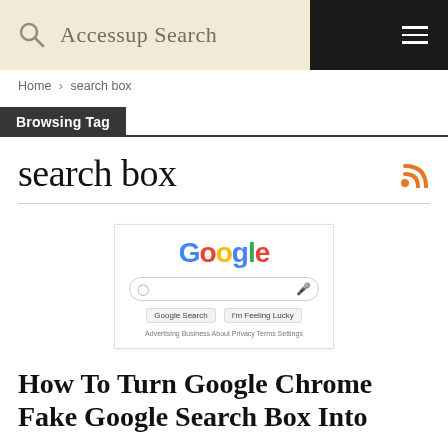Accessup Search
Home > search box
Browsing Tag
search box
[Figure (screenshot): Screenshot of Google homepage with search bar and Google Search / I'm Feeling Lucky buttons]
How To Turn Google Chrome Fake Google Search Box Into